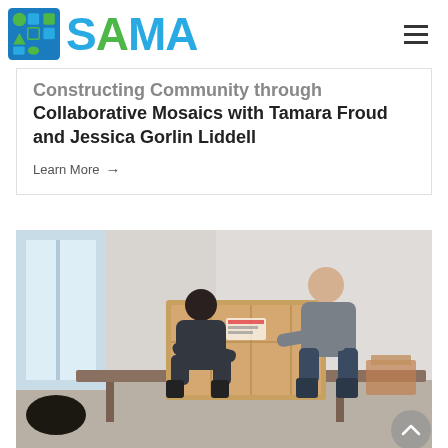SAMA
Constructing Community through Collaborative Mosaics with Tamara Froud and Jessica Gorlin Liddell
Learn More →
[Figure (photo): Two people lifting a large wooden crate onto a table inside a gallery or studio space. One person with dark hair bends over the crate while the other, wearing a grey shirt and jeans, stands on the opposite side. The room has large windows letting in natural light.]